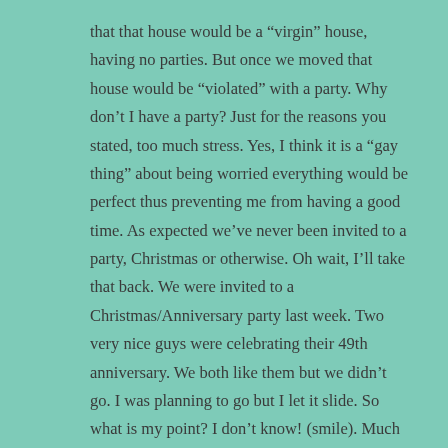that that house would be a “virgin” house, having no parties. But once we moved that house would be “violated” with a party. Why don’t I have a party? Just for the reasons you stated, too much stress. Yes, I think it is a “gay thing” about being worried everything would be perfect thus preventing me from having a good time. As expected we’ve never been invited to a party, Christmas or otherwise. Oh wait, I’ll take that back. We were invited to a Christmas/Anniversary party last week. Two very nice guys were celebrating their 49th anniversary. We both like them but we didn’t go. I was planning to go but I let it slide. So what is my point? I don’t know! (smile). Much success on your party!